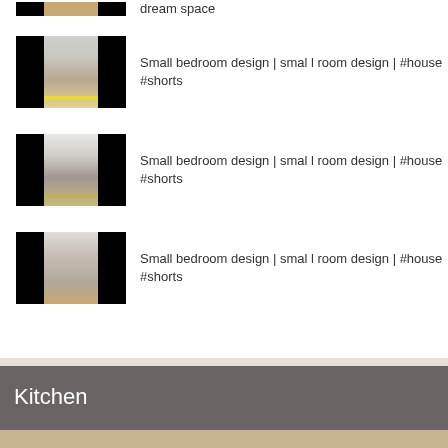dream space
Small bedroom design | smal l room design | #house #shorts
Small bedroom design | smal l room design | #house #shorts
Small bedroom design | smal l room design | #house #shorts
Kitchen